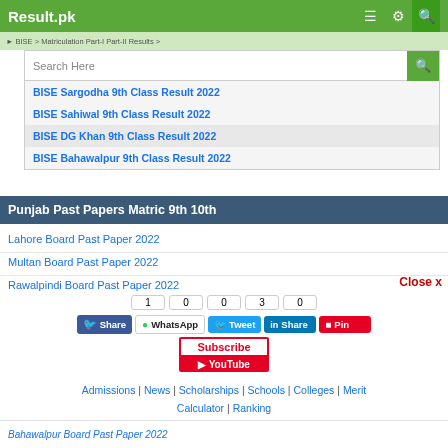Result.pk
Search Here
BISE Sargodha 9th Class Result 2022
BISE Sahiwal 9th Class Result 2022
BISE DG Khan 9th Class Result 2022
BISE Bahawalpur 9th Class Result 2022
Punjab Past Papers Matric 9th 10th
Lahore Board Past Paper 2022
Multan Board Past Paper 2022
Rawalpindi Board Past Paper 2022
Close x
1  0  0  3  0
Share  WhatsApp  Tweet  Share  Pin
Subscribe
YouTube
Admissions | News | Scholarships | Schools | Colleges | Merit Calculator | Ranking
Bahawalpur Board Past Paper 2022